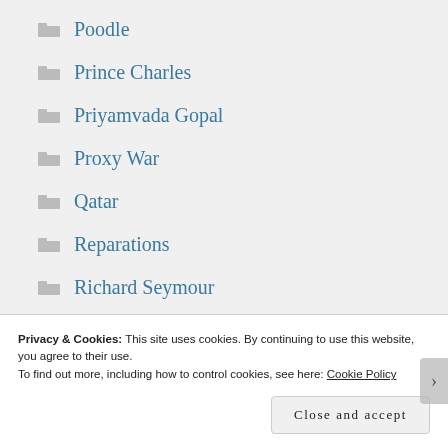Poodle
Prince Charles
Priyamvada Gopal
Proxy War
Qatar
Reparations
Richard Seymour
Robin Yassin-Kassab
Rod Liddle
Privacy & Cookies: This site uses cookies. By continuing to use this website, you agree to their use.
To find out more, including how to control cookies, see here: Cookie Policy
Close and accept